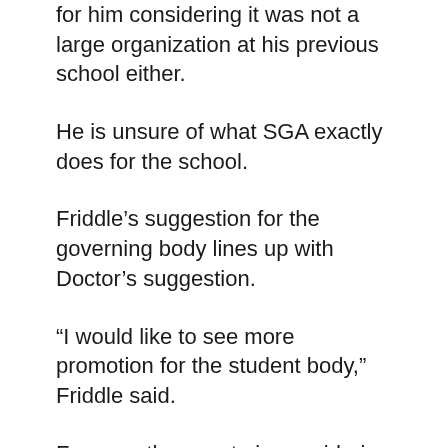for him considering it was not a large organization at his previous school either.
He is unsure of what SGA exactly does for the school.
Friddle’s suggestion for the governing body lines up with Doctor’s suggestion.
“I would like to see more promotion for the student body,” Friddle said.
For now, the senate is considering signage around campus and residence halls and possibly advertising during streamed university sports productions.
The SGA typically meets on Friday afternoons at 1:00 p.m. but will not have a regular meeting Sep. 7. The homecoming committees will be meeting separately in